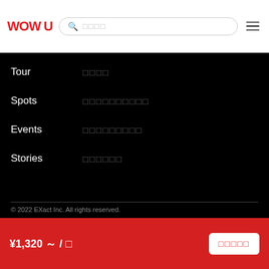WOW U [search bar] [menu]
Tour　□□□□
Spots　□□□□□□□□□□
Events　□□□□□□□□□
Stories　□□□□□□
[Figure (other): Social media icons: Facebook, Instagram, Twitter]
© 2022 EXact Inc. All rights reserved.
¥1,320 ～ / □　[book button: □□□□□]